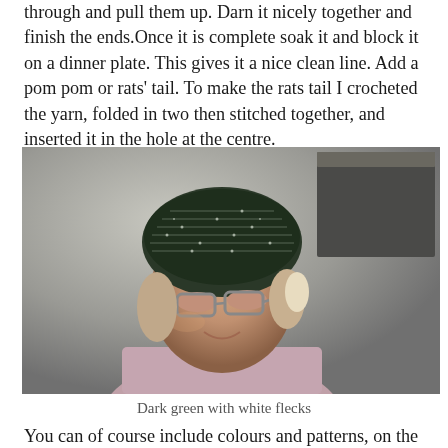through and pull them up. Darn it nicely together and finish the ends.Once it is complete soak it and block it on a dinner plate. This gives it a nice clean line. Add a pom pom or rats' tail. To make the rats tail I crocheted the yarn, folded in two then stitched together, and inserted it in the hole at the centre.
[Figure (photo): A woman wearing a dark green crocheted hat with white flecks, wearing glasses, smiling slightly, photographed against a grey background.]
Dark green with white flecks
You can of course include colours and patterns, on the brim or the hat, and you can do a firmer or floppier